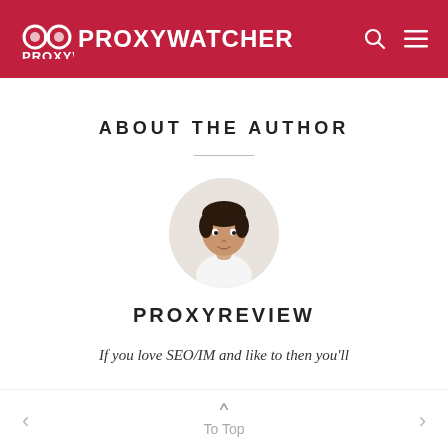PROXYWATCHER
ABOUT THE AUTHOR
[Figure (photo): Circular avatar photo of a young man with dark hair, wearing a white shirt, against a light background.]
PROXYREVIEW
If you love SEO/IM and like to then you'll
To Top